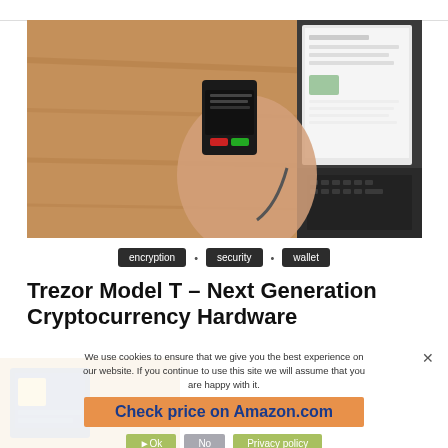[Figure (photo): Person holding a Trezor Model T hardware cryptocurrency wallet device with a laptop in the background showing a web interface]
encryption
security
wallet
Trezor Model T – Next Generation Cryptocurrency Hardware
We use cookies to ensure that we give you the best experience on our website. If you continue to use this site we will assume that you are happy with it.
Check price on Amazon.com
Ok   No   Privacy policy